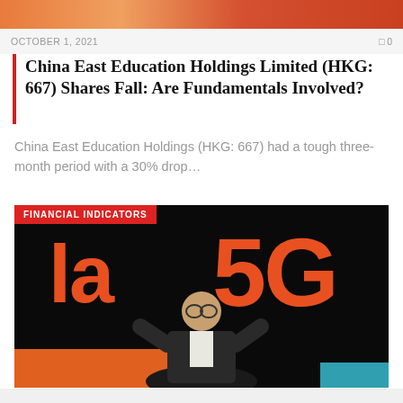[Figure (photo): Top decorative image strip with orange/red gradient tones]
OCTOBER 1, 2021   0
China East Education Holdings Limited (HKG: 667) Shares Fall: Are Fundamentals Involved?
China East Education Holdings (HKG: 667) had a tough three-month period with a 30% drop...
[Figure (photo): Photo of a man in a dark suit presenting on stage in front of a large screen showing 'La 5G' text in orange on black background. A red badge labeled FINANCIAL INDICATORS is overlaid at top-left of the image.]